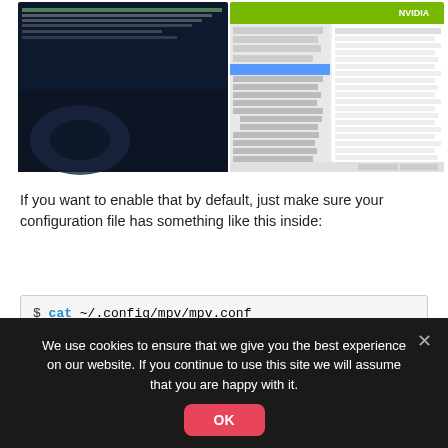[Figure (screenshot): Screenshot showing a terminal window on the left with system information output, and an NVIDIA GPU settings panel on the right showing graphics card information.]
If you want to enable that by default, just make sure your configuration file has something like this inside:
$ cat ~/.config/mpv/mpv.conf
#hwdec=vdpau
#vo=vdpau
hwdec=cuda
We use cookies to ensure that we give you the best experience on our website. If you continue to use this site we will assume that you are happy with it.